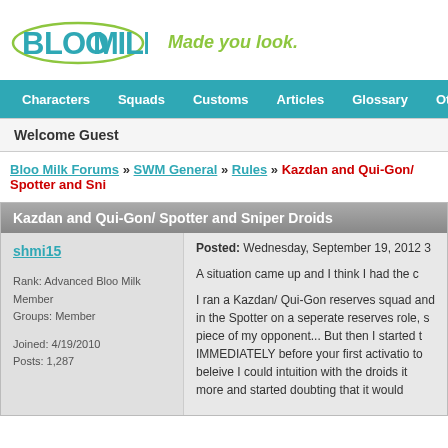[Figure (logo): BlooMilk logo with green oval outline and blue stylized text, with green italic tagline 'Made you look.']
Characters | Squads | Customs | Articles | Glossary | Other | Com
Welcome Guest
Bloo Milk Forums » SWM General » Rules » Kazdan and Qui-Gon/ Spotter and Sni
Kazdan and Qui-Gon/ Spotter and Sniper Droids
shmi15
Posted: Wednesday, September 19, 2012 3
Rank: Advanced Bloo Milk Member
Groups: Member
Joined: 4/19/2010
Posts: 1,287
A situation came up and I think I had the c

I ran a Kazdan/ Qui-Gon reserves squad and in the Spotter on a seperate reserves role, s piece of my opponent... But then I started t IMMEDIATELY before your first activatio to beleive I could intuition with the droids it more and started doubting that it would